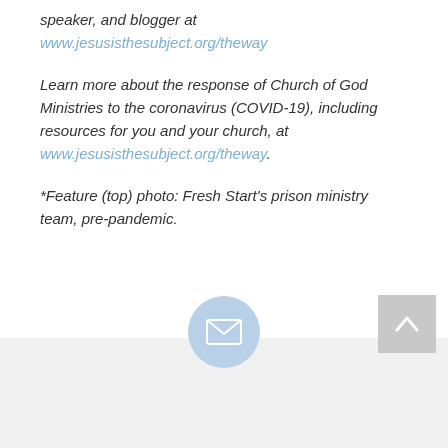speaker, and blogger at www.jesusisthesubject.org/theway
Learn more about the response of Church of God Ministries to the coronavirus (COVID-19), including resources for you and your church, at www.jesusisthesubject.org/theway.
*Feature (top) photo: Fresh Start's prison ministry team, pre-pandemic.
[Figure (other): Light blue circular email icon button at bottom center, and a grey scroll-to-top arrow button at bottom right]